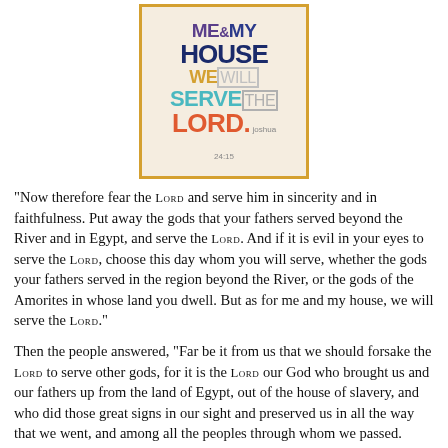[Figure (illustration): Colorful typographic poster with text 'ME & MY HOUSE WE WILL SERVE THE LORD. joshua 24:15' on a cream background with orange border. Text is in various colors: purple, dark blue, yellow/gold, gray, teal, coral/orange.]
“Now therefore fear the Lord and serve him in sincerity and in faithfulness. Put away the gods that your fathers served beyond the River and in Egypt, and serve the Lord. And if it is evil in your eyes to serve the Lord, choose this day whom you will serve, whether the gods your fathers served in the region beyond the River, or the gods of the Amorites in whose land you dwell. But as for me and my house, we will serve the Lord.”
Then the people answered, “Far be it from us that we should forsake the Lord to serve other gods, for it is the Lord our God who brought us and our fathers up from the land of Egypt, out of the house of slavery, and who did those great signs in our sight and preserved us in all the way that we went, and among all the peoples through whom we passed.